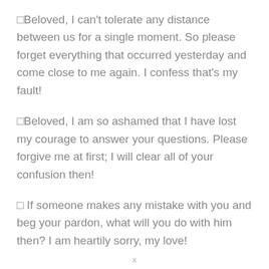□Beloved, I can't tolerate any distance between us for a single moment. So please forget everything that occurred yesterday and come close to me again. I confess that's my fault!
□Beloved, I am so ashamed that I have lost my courage to answer your questions. Please forgive me at first; I will clear all of your confusion then!
□ If someone makes any mistake with you and beg your pardon, what will you do with him then? I am heartily sorry, my love!
x